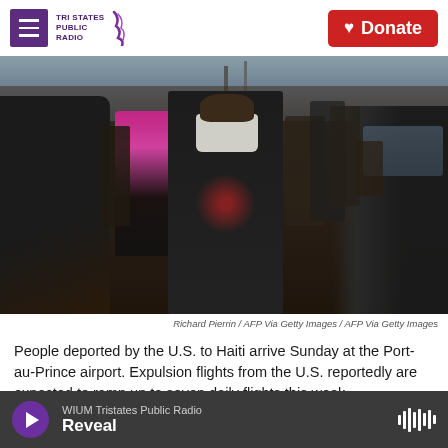Tri States Public Radio | Donate
[Figure (photo): A crowd of people, many wearing face masks, with a central figure in a black Tampa Bay skull t-shirt and white N95 mask. Scene appears to be outdoors at an airport or public area. People deported to Haiti arriving at Port-au-Prince airport.]
Richard Pierrin / AFP Via Getty Images / AFP Via Getty Images
People deported by the U.S. to Haiti arrive Sunday at the Port-au-Prince airport. Expulsion flights from the U.S. reportedly are expected to ramp up to seven daily flights this week.
WIUM Tristates Public Radio | Reveal